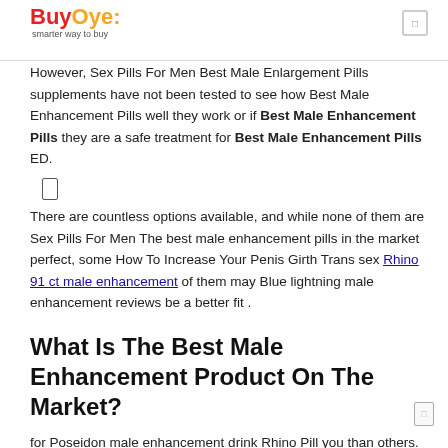BuyOye. smarter way to buy
However, Sex Pills For Men Best Male Enlargement Pills supplements have not been tested to see how Best Male Enhancement Pills well they work or if Best Male Enhancement Pills they are a safe treatment for Best Male Enhancement Pills ED.
There are countless options available, and while none of them are Sex Pills For Men The best male enhancement pills in the market perfect, some How To Increase Your Penis Girth Trans sex Rhino 91 ct male enhancement of them may Blue lightning male enhancement reviews be a better fit .
What Is The Best Male Enhancement Product On The Market?
for Poseidon male enhancement drink Rhino Pill you than others.
There are Viagra mexico precio a lot of articles comparing Male Extra